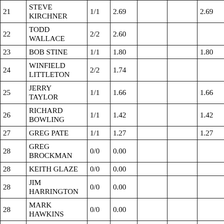| 21 | STEVE KIRCHNER | 1/1 | 2.69 |  |  | 2.69 |  | 2.69 |  |
| 22 | TODD WALLACE | 2/2 | 2.60 |  |  |  |  | 2.60 |  |
| 23 | BOB STINE | 1/1 | 1.80 |  |  | 1.80 |  | 1.80 |  |
| 24 | WINFIELD LITTLETON | 2/2 | 1.74 |  |  |  |  | 1.74 |  |
| 25 | JERRY TAYLOR | 1/1 | 1.66 |  |  | 1.66 |  | 1.66 |  |
| 26 | RICHARD BOWLING | 1/1 | 1.42 |  |  | 1.42 |  | 1.42 |  |
| 27 | GREG PATE | 1/1 | 1.27 |  |  | 1.27 |  | 1.27 |  |
| 28 | GREG BROCKMAN | 0/0 | 0.00 |  |  |  |  | 0.00 |  |
| 28 | KEITH GLAZE | 0/0 | 0.00 |  |  |  |  | 0.00 |  |
| 28 | JIM HARRINGTON | 0/0 | 0.00 |  |  |  |  | 0.00 |  |
| 28 | MARK HAWKINS | 0/0 | 0.00 |  |  |  |  | 0.00 |  |
| 28 | JOE HOGAN | 0/0 | 0.00 |  |  |  |  | 0.00 |  |
| 28 | JIM | 0/0 | 0.00 |  |  |  |  | 0.00 |  |